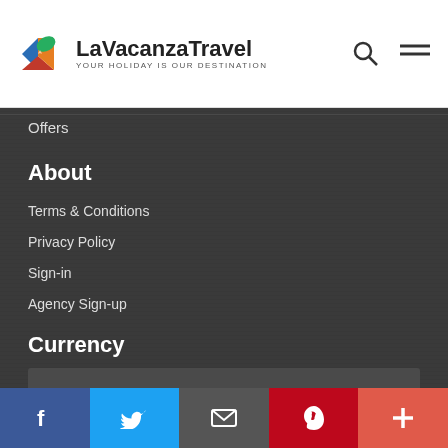LaVacanzaTravel — YOUR HOLIDAY IS OUR DESTINATION
Offers
About
Terms & Conditions
Privacy Policy
Sign-in
Agency Sign-up
Currency
INR
Subscribe
Keep up to date with all that's going on at La Vacanza
Your mail
Facebook | Twitter | Mail | Pinterest | Plus